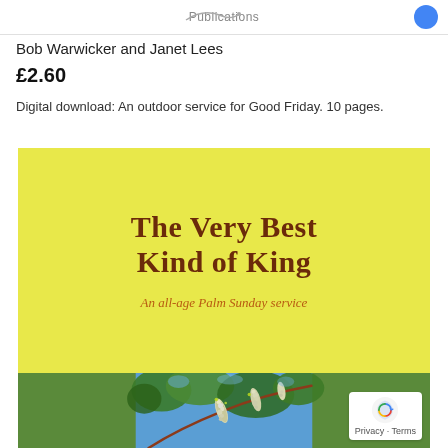Publications
Bob Warwicker and Janet Lees
£2.60
Digital download: An outdoor service for Good Friday. 10 pages.
[Figure (illustration): Book cover for 'The Very Best Kind of King — An all-age Palm Sunday service' with yellow background and photo of willow catkins below]